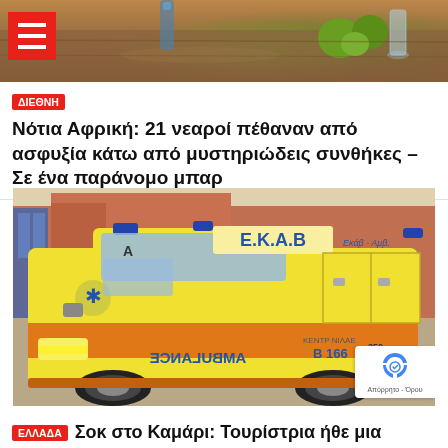[Figure (photo): Top banner photo showing food/drinks on a table with fruits and glasses, partially obscured by a red hamburger menu icon in the top-left corner]
ΔΙΕΘΝΗ Νότια Αφρική: 21 νεαροί πέθαναν από ασφυξία κάτω από μυστηριώδεις συνθήκες – Σε ένα παράνομο μπαρ
[Figure (photo): Greek EKAB ambulance (yellow with orange stripe) parked outside a building, showing AMBULANCE text mirrored on the front, license plate B166, with a reCAPTCHA badge in the bottom-right corner]
ΕΛΛΑΔΑ Σοκ στο Καμάρι: Τουρίστρια ήθε μια